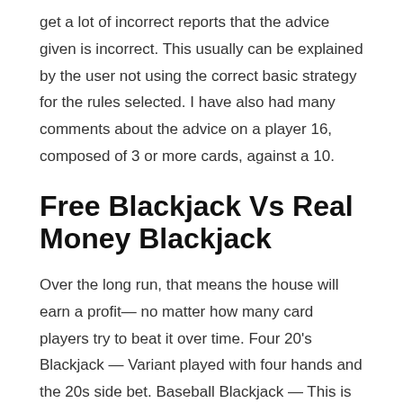get a lot of incorrect reports that the advice given is incorrect. This usually can be explained by the user not using the correct basic strategy for the rules selected. I have also had many comments about the advice on a player 16, composed of 3 or more cards, against a 10.
Free Blackjack Vs Real Money Blackjack
Over the long run, that means the house will earn a profit— no matter how many card players try to beat it over time. Four 20's Blackjack — Variant played with four hands and the 20s side bet. Baseball Blackjack — This is a pretty straightforward basic blackjack game with a twist. Retro Blackjack — This is another themed version of regular blackjack that uses some modern touches of